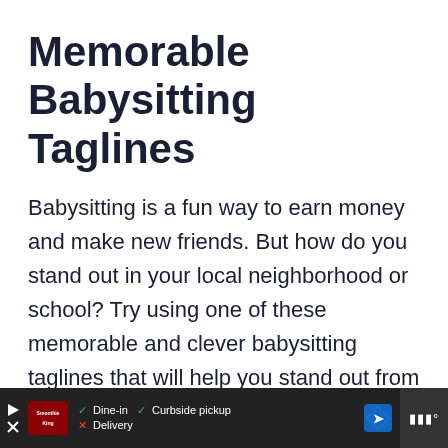Memorable Babysitting Taglines
Babysitting is a fun way to earn money and make new friends. But how do you stand out in your local neighborhood or school? Try using one of these memorable and clever babysitting taglines that will help you stand out from the hundreds of other babysitters.
[Figure (screenshot): Advertisement bar at the bottom showing a restaurant ad with Smoothie King logo, dine-in and curbside pickup checkmarks, no delivery, navigation icon, and media controls]